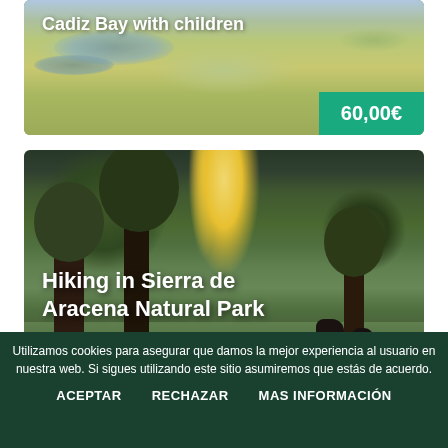[Figure (photo): Aerial photo of Cadiz Bay wetlands/marshlands with winding water channels and golden grassy vegetation. White bold text overlay reads 'Cadiz Bay with children'. Green price tag showing '60,00€' in bottom right corner.]
[Figure (photo): Sunlit forest scene in Sierra de Aracena Natural Park with large oak trees, green grassy ground, sunlight streaming through trees, and dark iberian pigs in the background. White bold text overlay reads 'Hiking in Sierra de Aracena Natural Park'.]
Utilizamos cookies para asegurar que damos la mejor experiencia al usuario en nuestra web. Si sigues utilizando este sitio asumiremos que estás de acuerdo.
ACEPTAR
RECHAZAR
MAS INFORMACIÓN